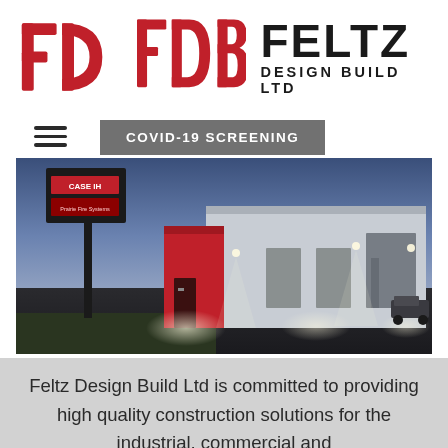[Figure (logo): FDB Feltz Design Build Ltd logo. Left side has red stylized letters F, D, B. Right side has large black bold text FELTZ with DESIGN BUILD LTD beneath it in smaller bold caps.]
[Figure (other): Hamburger menu icon (three horizontal lines)]
[Figure (other): Gray button/banner reading COVID-19 SCREENING]
[Figure (photo): Evening/dusk photo of a commercial building complex. Left side has a tall red-and-black illuminated sign reading CASE II and Prairie Fire Systems. Center shows a red facade building entrance. Right shows a large white/grey warehouse-style building with exterior lighting illuminating the parking lot.]
Feltz Design Build Ltd is committed to providing high quality construction solutions for the industrial, commercial and